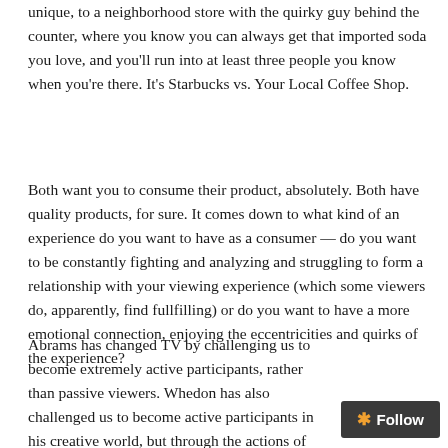unique, to a neighborhood store with the quirky guy behind the counter, where you know you can always get that imported soda you love, and you'll run into at least three people you know when you're there. It's Starbucks vs. Your Local Coffee Shop.
Both want you to consume their product, absolutely. Both have quality products, for sure. It comes down to what kind of an experience do you want to have as a consumer — do you want to be constantly fighting and analyzing and struggling to form a relationship with your viewing experience (which some viewers do, apparently, find fullfilling) or do you want to have a more emotional connection, enjoying the eccentricities and quirks of the experience?
Abrams has changed TV by challenging us to become extremely active participants, rather than passive viewers. Whedon has also challenged us to become active participants in his creative world, but through the actions of the